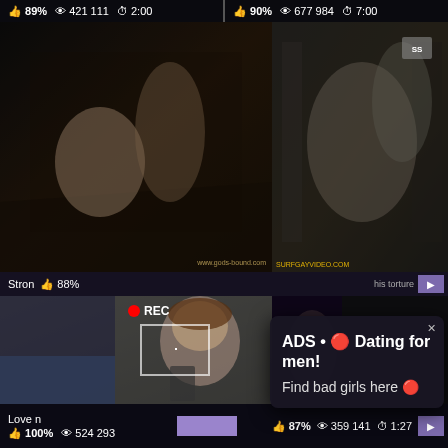[Figure (screenshot): Adult video website screenshot showing thumbnails with stats bars, and two advertisement popups overlaid: a white quarantine ad notification and a dark dating ad popup]
89% 421111 2:00
90% 677 984 7:00
Stron 88%
in case of quarantine
Advertisement
tap here to view
ADS • 🔴 Dating for men!
Find bad girls here 🔴
Love n 100% 524 293
87% 359 141 1:27